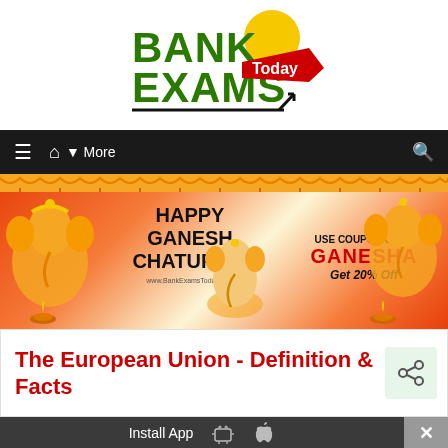[Figure (logo): Bank Exams Today logo — BANK in green bold letters, EXAMS in green bold letters, Today in white text on red ribbon, yellow circle accent, black underline with arrow]
[Figure (screenshot): Navigation bar with dark background, hamburger menu icon, home icon, More dropdown, and search icon on the right]
[Figure (infographic): Happy Ganesh Chaturthi promotional banner with orange/red background, Ganesha idol images, USE COUPON CODE GANESHA Get 20% Off text]
The European Union - Definition & Facts
[Figure (other): Share icon button, green background]
Install App  [Android icon] [Apple icon]  ×